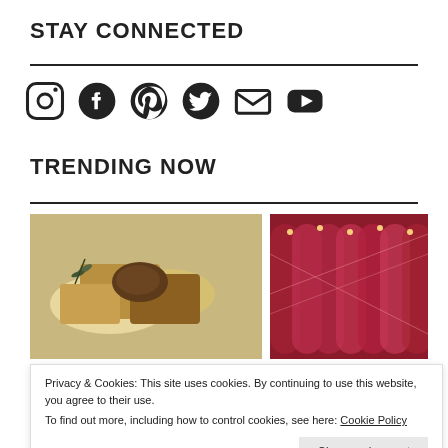STAY CONNECTED
[Figure (infographic): Social media icons: Instagram, Facebook, Pinterest, Twitter, Email, YouTube]
TRENDING NOW
[Figure (photo): Food/cheese board with herbs and bread]
[Figure (photo): Red/pink wine cellar or tasting room interior]
Privacy & Cookies: This site uses cookies. By continuing to use this website, you agree to their use.
To find out more, including how to control cookies, see here: Cookie Policy
[Figure (photo): Trees/outdoor landscape]
[Figure (photo): Hanging light fixtures]